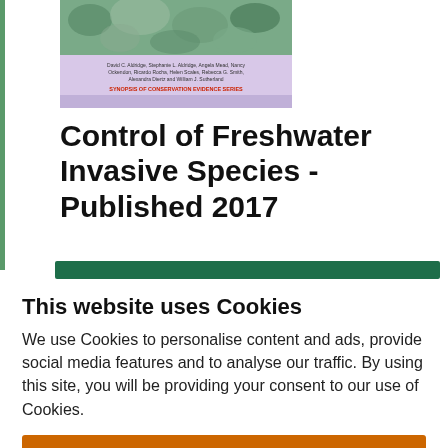[Figure (illustration): Book cover for 'Control of Freshwater Invasive Species' - Shows an image of organisms/nature at top, author names in small text on a light purple/pink background, and red subtitle text 'SYNOPSIS OF CONSERVATION EVIDENCE SERIES' at bottom.]
Control of Freshwater Invasive Species - Published 2017
This website uses Cookies
We use Cookies to personalise content and ads, provide social media features and to analyse our traffic. By using this site, you will be providing your consent to our use of Cookies.
Accept & continue